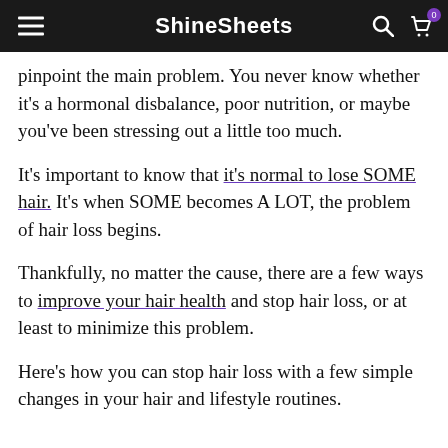ShineSheets
pinpoint the main problem. You never know whether it's a hormonal disbalance, poor nutrition, or maybe you've been stressing out a little too much.
It's important to know that it's normal to lose SOME hair. It's when SOME becomes A LOT, the problem of hair loss begins.
Thankfully, no matter the cause, there are a few ways to improve your hair health and stop hair loss, or at least to minimize this problem.
Here's how you can stop hair loss with a few simple changes in your hair and lifestyle routines.